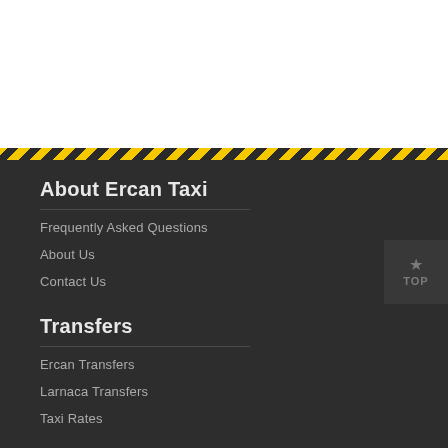About Ercan Taxi
Frequently Asked Questions
About Us
Contact Us
Transfers
Ercan Transfers
Larnaca Transfers
Taxi Rates